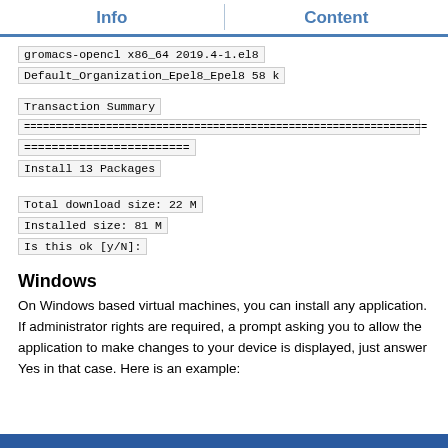Info	Content
gromacs-opencl x86_64 2019.4-1.el8
Default_Organization_Epel8_Epel8 58 k
Transaction Summary
================================================================
========================
Install 13 Packages

Total download size: 22 M
Installed size: 81 M
Is this ok [y/N]:
Windows
On Windows based virtual machines, you can install any application. If administrator rights are required, a prompt asking you to allow the application to make changes to your device is displayed, just answer Yes in that case. Here is an example:
[Figure (screenshot): Blue bar at the bottom of the page, likely a Windows UAC prompt screenshot beginning]